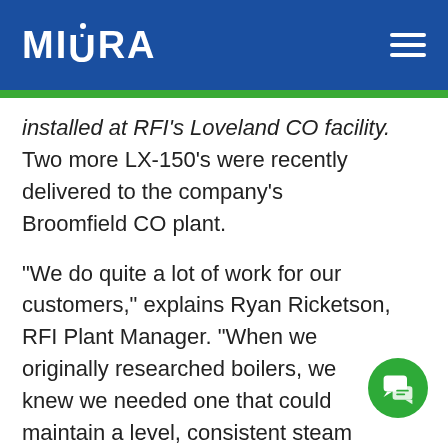[Figure (logo): Miura logo in white text on blue background with hamburger menu icon]
installed at RFI's Loveland CO facility. Two more LX-150's were recently delivered to the company's Broomfield CO plant.
“We do quite a lot of work for our customers,” explains Ryan Ricketson, RFI Plant Manager. “When we originally researched boilers, we knew we needed one that could maintain a level, consistent steam pressure during normal operation as well as for our plate test. We...